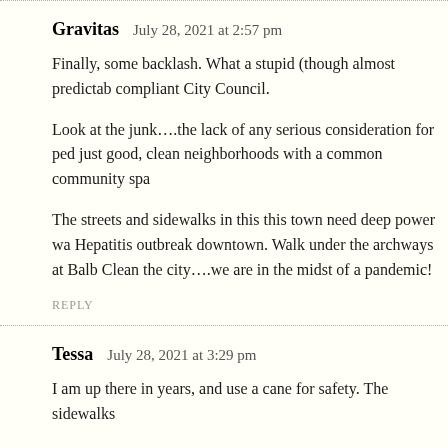Gravitas   July 28, 2021 at 2:57 pm
Finally, some backlash. What a stupid (though almost predictab compliant City Council.
Look at the junk….the lack of any serious consideration for ped just good, clean neighborhoods with a common community spa
The streets and sidewalks in this this town need deep power wa Hepatitis outbreak downtown. Walk under the archways at Balb Clean the city….we are in the midst of a pandemic!
REPLY
Tessa   July 28, 2021 at 3:29 pm
I am up there in years, and use a cane for safety. The sidewalks